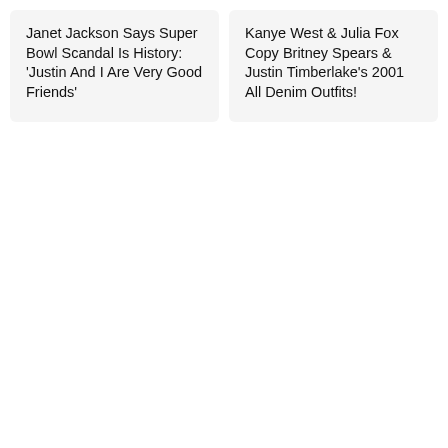Janet Jackson Says Super Bowl Scandal Is History: 'Justin And I Are Very Good Friends'
Kanye West & Julia Fox Copy Britney Spears & Justin Timberlake's 2001 All Denim Outfits!